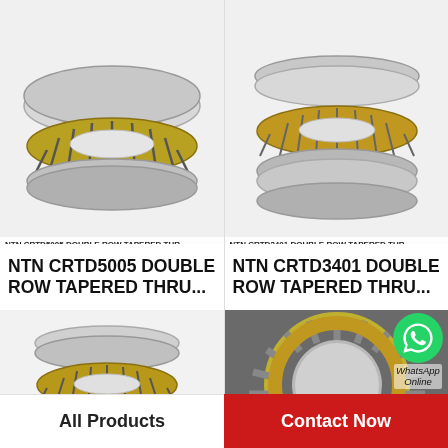[Figure (photo): NTN CRTD5005 double row tapered thrust bearing - gold and silver ring bearing viewed from above at angle]
NTN CRTD5005 DOUBLE ROW TAPERED THR
NTN CRTD5005 DOUBLE ROW TAPERED THRU...
[Figure (photo): NTN CRTD3401 double row tapered thrust bearing - gold and silver stacked bearing rings]
NTN CRTD3401 DOUBLE ROW TAPERED THR
NTN CRTD3401 DOUBLE ROW TAPERED THRU...
[Figure (photo): Double row tapered thrust bearing - three stacked rings gold and silver]
[Figure (photo): Close-up of thrust bearing cage with rollers, with WhatsApp Online overlay icon]
WhatsApp Online
All Products
Contact Now